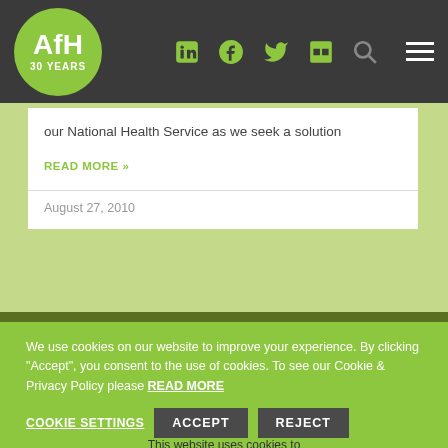[Figure (logo): AfH 30 Years logo - green circle with white text]
Navigation icons: LinkedIn, Facebook, Twitter, Flickr, Search, Hamburger menu
our National Health Service as we seek a solution
READ MORE »
August 27, 2010
We use cookies on our website to improve your experience. By clicking "Accept", you consent to the use of cookies. To see our Cookie & Privacy Policy please READ MORE
COOKIE SETTINGS   ACCEPT   REJECT